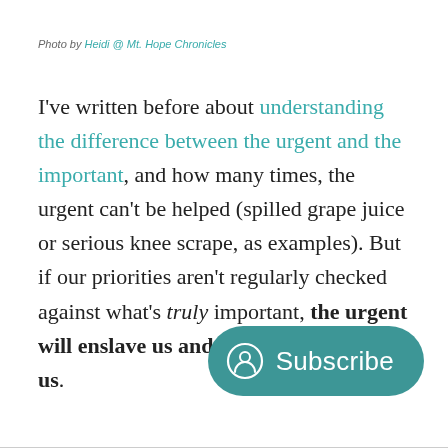Photo by Heidi @ Mt. Hope Chronicles
I've written before about understanding the difference between the urgent and the important, and how many times, the urgent can't be helped (spilled grape juice or serious knee scrape, as examples). But if our priorities aren't regularly checked against what's truly important, the urgent will enslave us and suck the life out of us.
[Figure (other): Subscribe button with user icon, teal rounded rectangle]